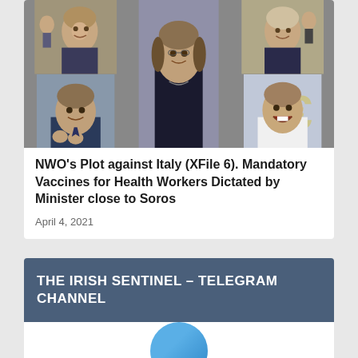[Figure (photo): Collage of six political figures arranged in a 3x2 grid of portrait photos]
NWO’s Plot against Italy (XFile 6). Mandatory Vaccines for Health Workers Dictated by Minister close to Soros
April 4, 2021
THE IRISH SENTINEL – TELEGRAM CHANNEL
[Figure (logo): Telegram channel logo circle in blue]